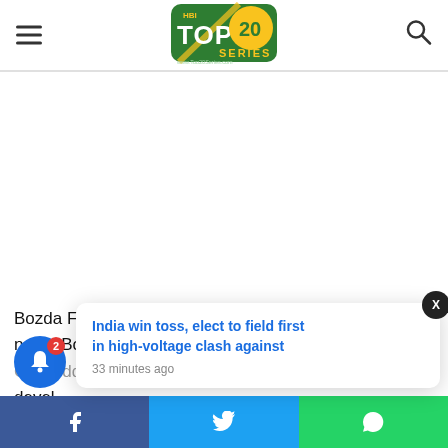Top20Series logo header with hamburger menu and search icon
[Figure (logo): Top20Series website logo - green badge with TOP 20 SERIES text and www.Top20Series.com URL]
Bozda Film also developed for Uzbekistan under the name Bozkr Arslan Celaleddin (Steppe Lion Celaleddin), signing the series Diriliş Ertu... noteworthy devel...
India win toss, elect to field first in high-voltage clash against
33 minutes ago